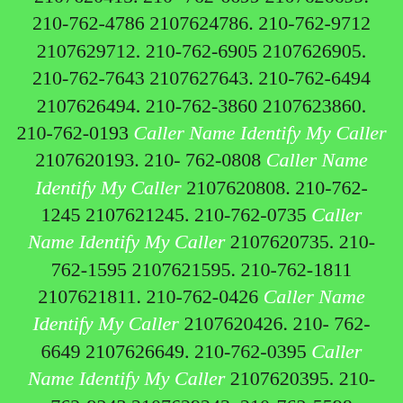2107625759. 210-762-6417 2107626417. 210-762-0415 Caller Name Identify My Caller 2107620415. 210-762-6699 2107626699. 210-762-4786 2107624786. 210-762-9712 2107629712. 210-762-6905 2107626905. 210-762-7643 2107627643. 210-762-6494 2107626494. 210-762-3860 2107623860. 210-762-0193 Caller Name Identify My Caller 2107620193. 210-762-0808 Caller Name Identify My Caller 2107620808. 210-762-1245 2107621245. 210-762-0735 Caller Name Identify My Caller 2107620735. 210-762-1595 2107621595. 210-762-1811 2107621811. 210-762-0426 Caller Name Identify My Caller 2107620426. 210-762-6649 2107626649. 210-762-0395 Caller Name Identify My Caller 2107620395. 210-762-9243 2107629243. 210-762-5598 2107625598. 210-762-8422 2107628422. 210-762-5371 2107625371. 210-762-2223